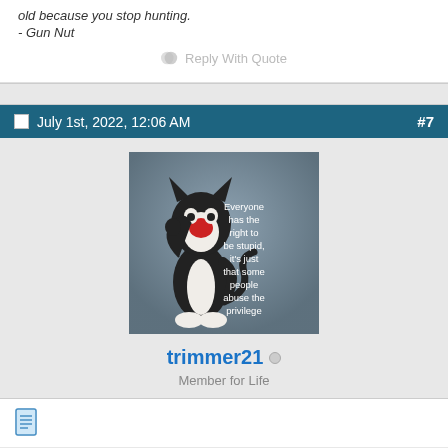old because you stop hunting.
- Gun Nut
Reply With Quote
July 1st, 2022, 12:06 AM   #7
[Figure (illustration): Sylvester the Cat cartoon with text: Everyone has the right to be stupid, it's just that some people abuse the privilege]
trimmer21
Member for Life
[Figure (illustration): Document/file icon in blue]